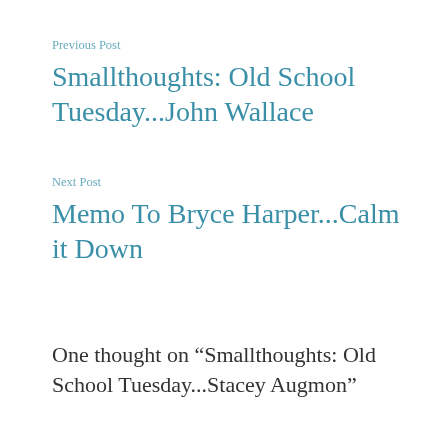Previous Post
Smallthoughts: Old School Tuesday...John Wallace
Next Post
Memo To Bryce Harper...Calm it Down
One thought on “Smallthoughts: Old School Tuesday...Stacey Augmon”